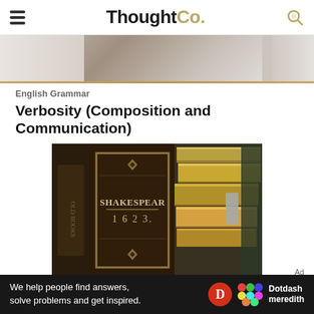ThoughtCo.
[Figure (photo): Partial top of a photo, showing a blurred background scene]
English Grammar
Verbosity (Composition and Communication)
[Figure (photo): Close-up photo of Shakespeare 1623 book spine with stacked old yellow books in a library]
We help people find answers, solve problems and get inspired.
Dotdash meredith